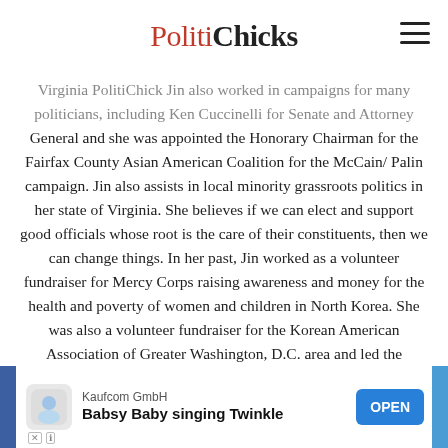PolitiChicks
Virginia PolitiChick Jin also worked in campaigns for many politicians, including Ken Cuccinelli for Senate and Attorney General and she was appointed the Honorary Chairman for the Fairfax County Asian American Coalition for the McCain/ Palin campaign. Jin also assists in local minority grassroots politics in her state of Virginia. She believes if we can elect and support good officials whose root is the care of their constituents, then we can change things. In her past, Jin worked as a volunteer fundraiser for Mercy Corps raising awareness and money for the health and poverty of women and children in North Korea. She was also a volunteer fundraiser for the Korean American Association of Greater Washington, D.C. area and led the Education Committee to teach English for newly arrived legal immigrants to the area. In conjunction, she worked with the office of former Congressman Thomas Davis, who took the lead on reforms in the welfare bill for legal immigrants. Jin was a former Vice President of Resources, board member and Fundraising Gala chair for the Korean American Coalition of Washington, D.C. in 2001. She was on the Scholarship Committee and the co-chair of the golf tournament fundraiser for the U.S. Pan Asian American Chamber of Commerce 2003-2006. More importantly, Jin i…
[Figure (other): Advertisement banner: Kaufcom GmbH - Babsy Baby singing Twinkle - OPEN button]